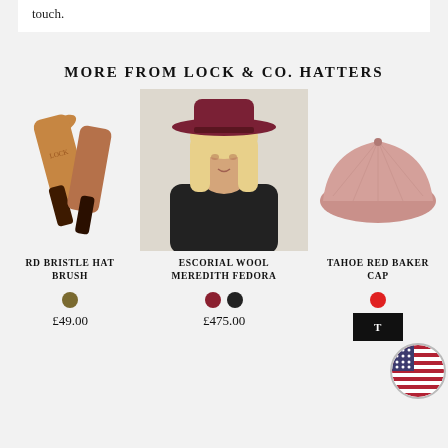touch.
MORE FROM LOCK & CO. HATTERS
[Figure (photo): Hat brush product photo — two brown wooden/bristle hat brushes with Lock & Co. branding]
[Figure (photo): Woman wearing an Escorial Wool Meredith Fedora hat in dark red/burgundy, wearing a black turtleneck]
[Figure (photo): Pink textured baker cap (Tahoe Red Baker Cap) on light background]
RD BRISTLE HAT BRUSH
ESCORIAL WOOL MEREDITH FEDORA
TAHOE RED BAKER CAP
£49.00
£475.00